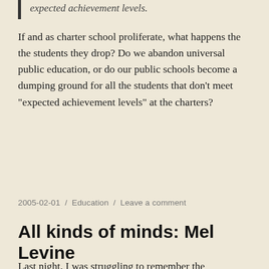expected achievement levels.
If and as charter school proliferate, what happens the the students they drop? Do we abandon universal public education, or do our public schools become a dumping ground for all the students that don't meet “expected achievement levels” at the charters?
2005-02-01 / Education / Leave a comment
All kinds of minds: Mel Levine
Last night, I was struggling to remember the